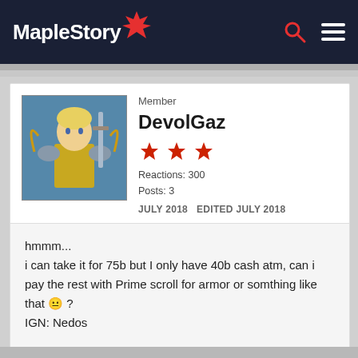MapleStory
Member
DevolGaz
Reactions: 300
Posts: 3
JULY 2018    EDITED JULY 2018
hmmm...
i can take it for 75b but I only have 40b cash atm, can i pay the rest with Prime scroll for armor or somthing like that 😐 ?
IGN: Nedos